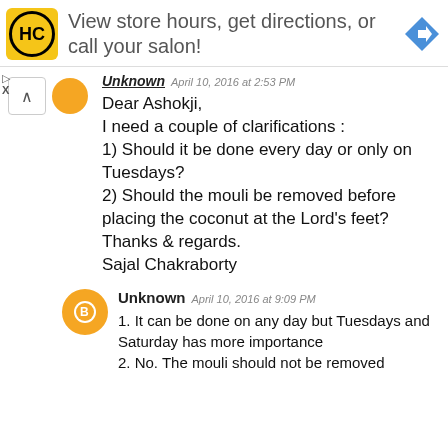[Figure (infographic): Advertisement banner: HC salon logo (yellow circle with HC text), text 'View store hours, get directions, or call your salon!', blue navigation arrow icon on right]
Unknown   April 10, 2016 at 2:53 PM
Dear Ashokji,
I need a couple of clarifications :
1) Should it be done every day or only on Tuesdays?
2) Should the mouli be removed before placing the coconut at the Lord's feet?
Thanks & regards.
Sajal Chakraborty
Unknown   April 10, 2016 at 9:09 PM
1. It can be done on any day but Tuesdays and Saturday has more importance
2. No. The mouli should not be removed